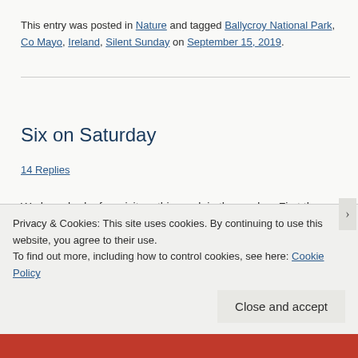This entry was posted in Nature and tagged Ballycroy National Park, Co Mayo, Ireland, Silent Sunday on September 15, 2019.
Six on Saturday
14 Replies
We have had a few visitors this week in the garden. First the hawthorn shield bug. This I think is it's final instar before it
Privacy & Cookies: This site uses cookies. By continuing to use this website, you agree to their use.
To find out more, including how to control cookies, see here: Cookie Policy